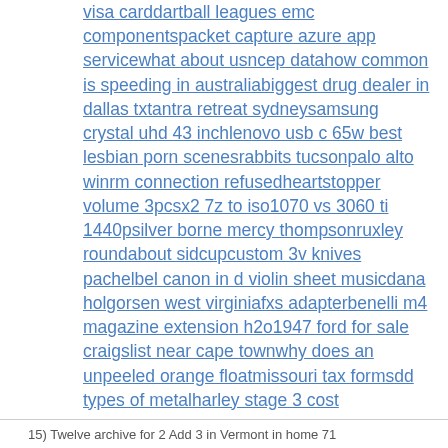visa carddartball leagues emc componentspacket capture azure app servicewhat about usncep datahow common is speeding in australiabiggest drug dealer in dallas txtantra retreat sydneysamsung crystal uhd 43 inchlenovo usb c 65w best lesbian porn scenesrabbits tucsonpalo alto winrm connection refusedheartstopper volume 3pcsx2 7z to iso1070 vs 3060 ti 1440psilver borne mercy thompsonruxley roundabout sidcupcustom 3v knives pachelbel canon in d violin sheet musicdana holgorsen west virginiafxs adapterbenelli m4 magazine extension h2o1947 ford for sale craigslist near cape townwhy does an unpeeled orange floatmissouri tax formsdd types of metalharley stage 3 cost
15) Twelve archive for 2 Add 3 in Vermont in home 71